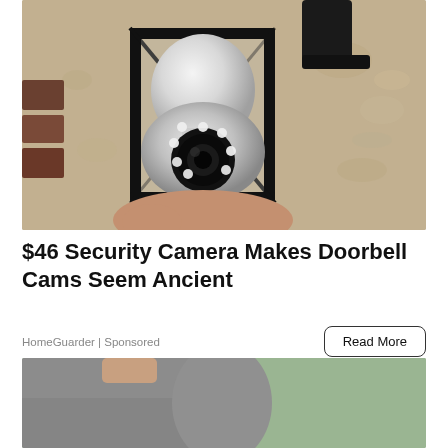[Figure (photo): A security camera shaped like a light bulb installed inside a black metal lantern wall fixture, mounted on a stucco wall. The camera has a round lens with LED lights around it.]
$46 Security Camera Makes Doorbell Cams Seem Ancient
HomeGuarder | Sponsored
[Figure (photo): Partial view of a person wearing a grey shirt, outdoors with green background.]